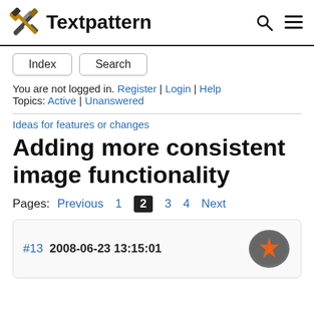Textpattern
Index
Search
You are not logged in. Register | Login | Help
Topics: Active | Unanswered
Ideas for features or changes
Adding more consistent image functionality
Pages: Previous 1 2 3 4 Next
#13 2008-06-23 13:15:01